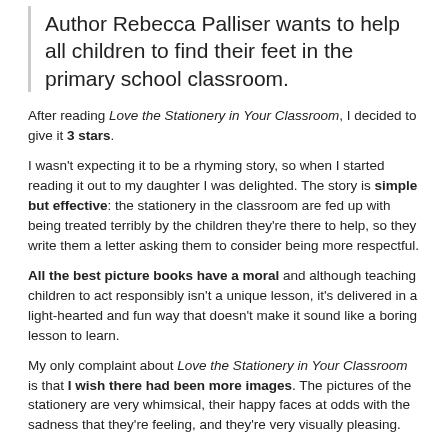Author Rebecca Palliser wants to help all children to find their feet in the primary school classroom.
After reading Love the Stationery in Your Classroom, I decided to give it 3 stars.
I wasn't expecting it to be a rhyming story, so when I started reading it out to my daughter I was delighted. The story is simple but effective: the stationery in the classroom are fed up with being treated terribly by the children they're there to help, so they write them a letter asking them to consider being more respectful.
All the best picture books have a moral and although teaching children to act responsibly isn't a unique lesson, it's delivered in a light-hearted and fun way that doesn't make it sound like a boring lesson to learn.
My only complaint about Love the Stationery in Your Classroom is that I wish there had been more images. The pictures of the stationery are very whimsical, their happy faces at odds with the sadness that they're feeling, and they're very visually pleasing.
However, there are two rhymes on each page! If it had been separated so that each rhyme had its own separate page, it would have showcased the